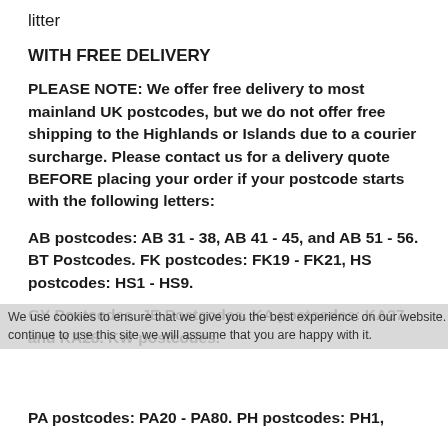litter
WITH FREE DELIVERY
PLEASE NOTE: We offer free delivery to most mainland UK postcodes, but we do not offer free shipping to the Highlands or Islands due to a courier surcharge. Please contact us for a delivery quote BEFORE placing your order if your postcode starts with the following letters:
AB postcodes: AB 31 - 38, AB 41 - 45, and AB 51 - 56. BT Postcodes. FK postcodes: FK19 - FK21, HS postcodes: HS1 - HS9.
GY Postcodes. JE Postcodes. KA postcodes: KA27 and KA28. KW postcodes.
PA postcodes: PA20 - PA80. PH postcodes: PH1,